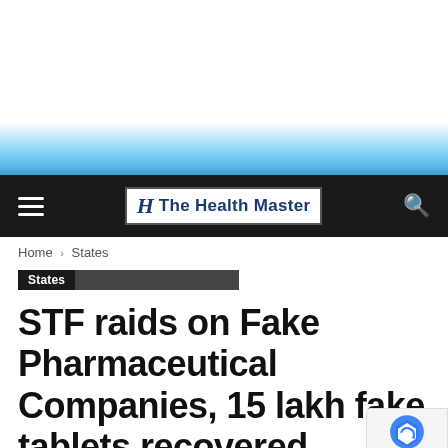[Figure (photo): Top banner area with light blue gradient, appears to be a website header image area]
The Health Master
Home › States
States
STF raids on Fake Pharmaceutical Companies, 15 lakh fake tablets recovered